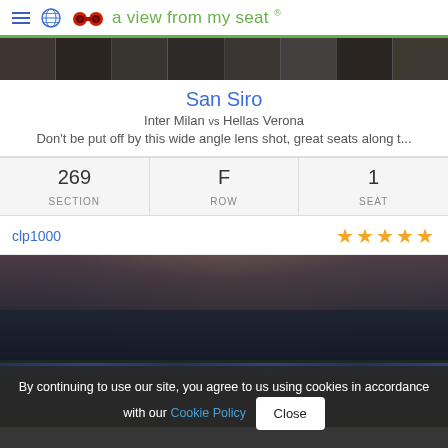a view from my seat ®
[Figure (photo): Partial crowd/stadium photo strip at top]
San Siro
Inter Milan vs Hellas Verona
Don't be put off by this wide angle lens shot, great seats along t...
| SECTION | ROW | SEAT |
| --- | --- | --- |
| 269 | F | 1 |
clp1000
★★★★★
[Figure (photo): Stadium interior photo of San Siro filled with crowd, Champions League banners visible]
By continuing to use our site, you agree to us using cookies in accordance with our Cookie Policy  Close